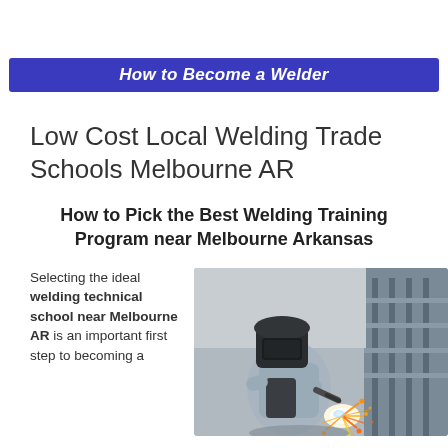How to Become a Welder
Low Cost Local Welding Trade Schools Melbourne AR
How to Pick the Best Welding Training Program near Melbourne Arkansas
Selecting the ideal welding technical school near Melbourne AR is an important first step to becoming a welder.
[Figure (photo): A welder wearing a protective helmet and work clothes welding with bright sparks flying, in an industrial workshop setting]